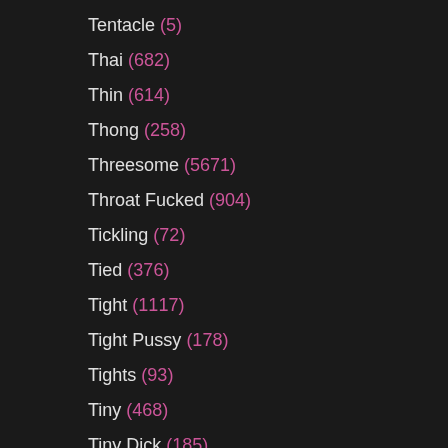Tentacle (5)
Thai (682)
Thin (614)
Thong (258)
Threesome (5671)
Throat Fucked (904)
Tickling (72)
Tied (376)
Tight (1117)
Tight Pussy (178)
Tights (93)
Tiny (468)
Tiny Dick (185)
Tiny Tits (187)
Tit Fucking (526)